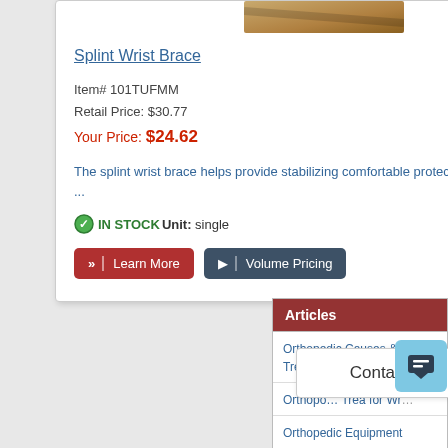[Figure (photo): Product image of Splint Wrist Brace - partial view at top of card]
Splint Wrist Brace
Item# 101TUFMM
Retail Price: $30.77
Your Price: $24.62
The splint wrist brace helps provide stabilizing comfortable protection and ...
IN STOCK Unit: single
Learn More | Volume Pricing
Articles
Orthopedic Causes & Treatment for Joi...
Orthopedic ... Treatment for Wr...
Orthopedic Equipment
Contact